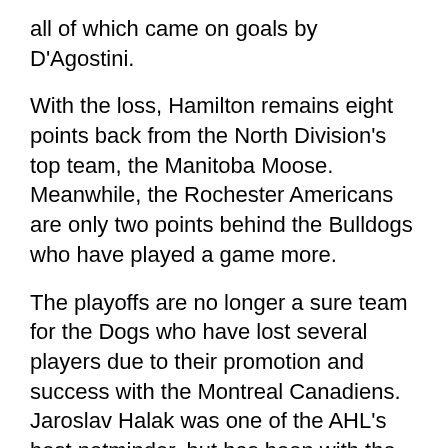all of which came on goals by D'Agostini.
With the loss, Hamilton remains eight points back from the North Division's top team, the Manitoba Moose. Meanwhile, the Rochester Americans are only two points behind the Bulldogs who have played a game more.
The playoffs are no longer a sure team for the Dogs who have lost several players due to their promotion and success with the Montreal Canadiens. Jaroslav Halak was one of the AHL's best netminder, but has been with the Habs since Cristobal Huet went down with a hamstring injury. Meanwhile, Maxim Lapierre and Andrei Kostitsyn look to have found their niche with the Habs and aren't likely to be demoted until Montreal's season comes to an end. By then, it may be too late for them to assist Hamilton in any sort of playoff push.
The Hamilton Bulldogs next suit up for action on Wednesday, March 21st against the Rochester...